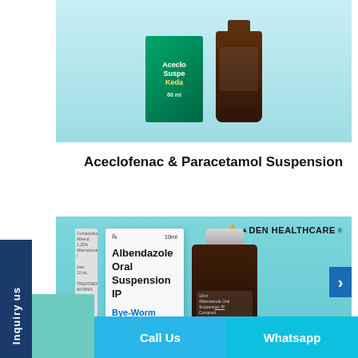[Figure (photo): Aceclofenac & Paracetamol Suspension product — green medicine box labeled 'Aceclofenac Suspension Keda 60ml' alongside an amber glass bottle, on a light blue background]
Aceclofenac & Paracetamol Suspension
[Figure (photo): Albendazole Oral Suspension IP product — white medicine box labeled 'Albendazole Oral Suspension IP, Bye-Worm, TREATMENT FOR WORMS' alongside an amber glass bottle with silver cap, on a teal background with Aden Healthcare logo]
Call Us
Whatsapp